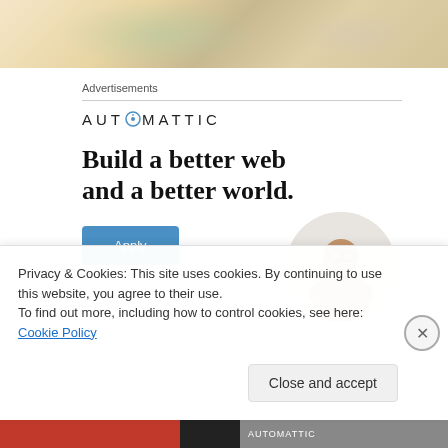[Figure (photo): Top partial image of flowers and nature scene with warm beige/tan tones]
Advertisements
[Figure (logo): Automattic company logo with compass icon replacing the 'O']
Build a better web and a better world.
[Figure (photo): Man in circular frame sitting thoughtfully with hand on chin]
Privacy & Cookies: This site uses cookies. By continuing to use this website, you agree to their use.
To find out more, including how to control cookies, see here: Cookie Policy